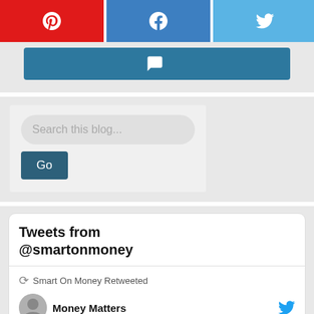[Figure (screenshot): Social share bar with Pinterest (red), Facebook (blue), Twitter (light blue) buttons and share count showing 0 SHARES]
[Figure (screenshot): Partial video/content button in dark teal color]
[Figure (screenshot): Search box with placeholder text 'Search this blog...' and a Go button in dark teal]
[Figure (screenshot): Tweets from @smartonmoney widget showing 'Smart On Money Retweeted' with Money Matters user partial view]